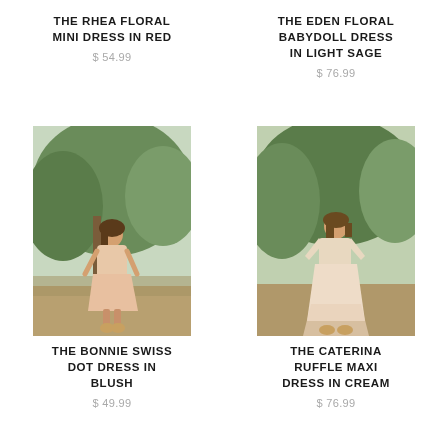THE RHEA FLORAL MINI DRESS IN RED
$ 54.99
THE EDEN FLORAL BABYDOLL DRESS IN LIGHT SAGE
$ 76.99
[Figure (photo): Woman wearing a pink floral mini dress outdoors among green trees]
[Figure (photo): Woman wearing a cream/floral maxi dress outdoors among green trees]
THE BONNIE SWISS DOT DRESS IN BLUSH
$ 49.99
THE CATERINA RUFFLE MAXI DRESS IN CREAM
$ 76.99